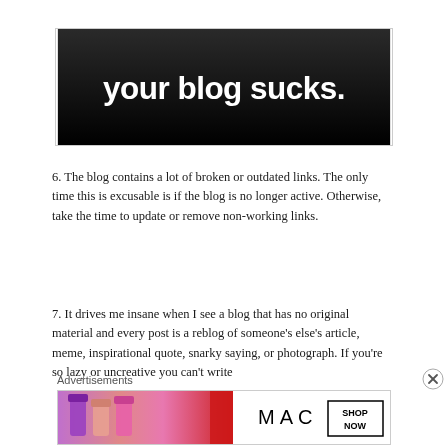[Figure (illustration): Black banner with gradient (dark at bottom, slightly lighter at top) with white bold text 'your blog sucks.' centered]
6. The blog contains a lot of broken or outdated links. The only time this is excusable is if the blog is no longer active. Otherwise, take the time to update or remove non-working links.
7. It drives me insane when I see a blog that has no original material and every post is a reblog of someone's else's article, meme, inspirational quote, snarky saying, or photograph. If you're so lazy or uncreative you can't write
Advertisements
[Figure (photo): MAC cosmetics advertisement showing lipsticks in purple, pink, peach colors on left, MAC logo in center, SHOP NOW button on right]